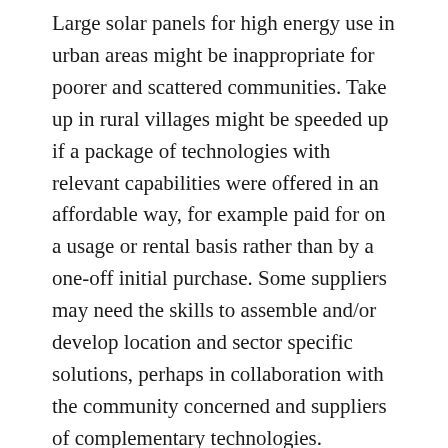Large solar panels for high energy use in urban areas might be inappropriate for poorer and scattered communities. Take up in rural villages might be speeded up if a package of technologies with relevant capabilities were offered in an affordable way, for example paid for on a usage or rental basis rather than by a one-off initial purchase. Some suppliers may need the skills to assemble and/or develop location and sector specific solutions, perhaps in collaboration with the community concerned and suppliers of complementary technologies.
End of life costs are the Achilles heel of some energy sources. Decommissioning costs of offshore oil platforms and nuclear power stations